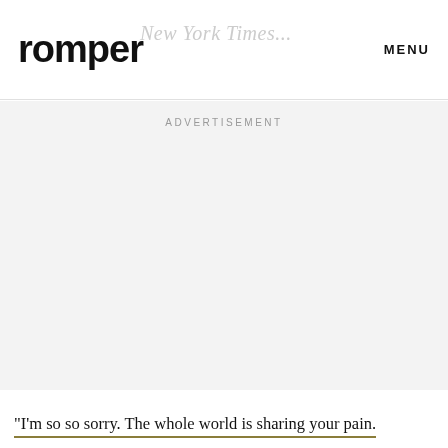romper   New York Times...   MENU
ADVERTISEMENT
"I'm so so sorry. The whole world is sharing your pain.